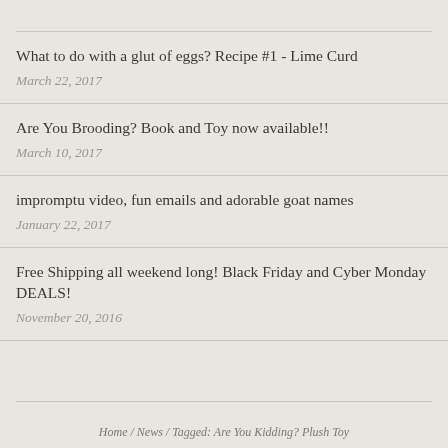What to do with a glut of eggs? Recipe #1 - Lime Curd
March 22, 2017
Are You Brooding? Book and Toy now available!!
March 10, 2017
impromptu video, fun emails and adorable goat names
January 22, 2017
Free Shipping all weekend long! Black Friday and Cyber Monday DEALS!
November 20, 2016
Home / News / Tagged: Are You Kidding? Plush Toy